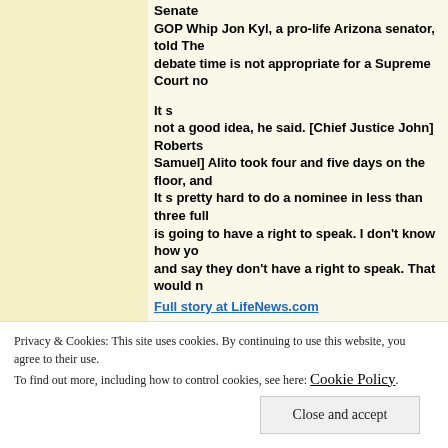Senate
GOP Whip Jon Kyl, a pro-life Arizona senator, told The debate time is not appropriate for a Supreme Court no
It s
not a good idea, he said. [Chief Justice John] Roberts Samuel] Alito took four and five days on the floor, and It s pretty hard to do a nominee in less than three full is going to have a right to speak. I don't know how you and say they don't have a right to speak. That would n
Full story at LifeNews.com
Pro-Abortion
Groups Play Defense After Obama Health Care Abortio
Washington,
DC (LifeNews.com) — In new interviews today with the
Privacy & Cookies: This site uses cookies. By continuing to use this website, you agree to their use.
To find out more, including how to control cookies, see here: Cookie Policy
Close and accept